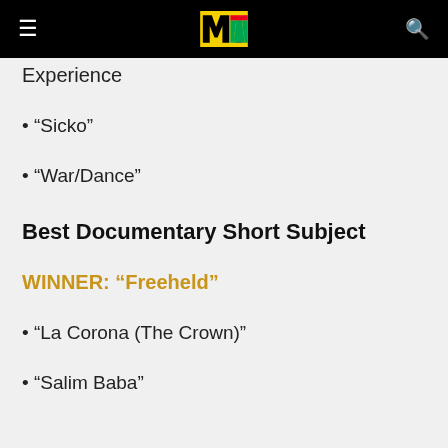MTV logo, hamburger menu, search icon
Experience
· "Sicko"
· "War/Dance"
Best Documentary Short Subject
WINNER: "Freeheld"
· "La Corona (The Crown)"
· "Salim Baba"